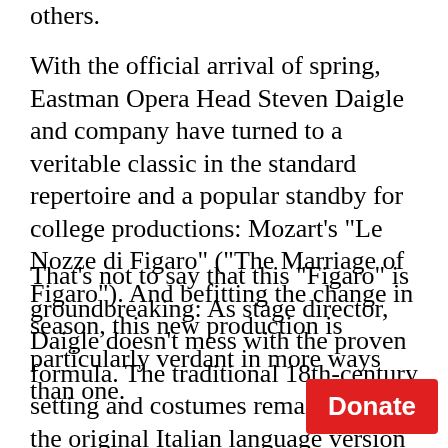others.
With the official arrival of spring, Eastman Opera Head Steven Daigle and company have turned to a veritable classic in the standard repertoire and a popular standby for college productions: Mozart's "Le Nozze di Figaro" ("The Marriage of Figaro"). And befitting the change in season, this new production is particularly verdant in more ways than one.
That's not to say that this "Figaro" is groundbreaking: As stage director, Daigle doesn't mess with the proven formula. The traditional 18th-century setting and costumes remain, as does the original Italian language version (with English supertitles). And of course, the central plot still surrounds Figaro and Susanna, two young lovers and servants who attemp despite aristocratic meddling. It's all at